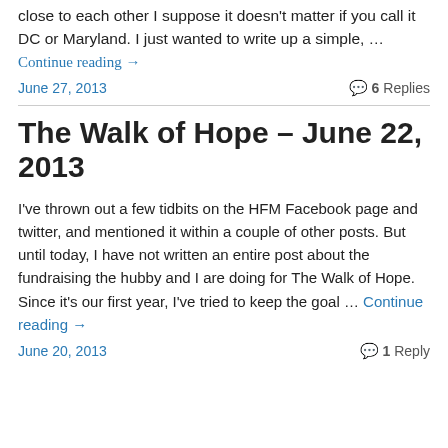close to each other I suppose it doesn't matter if you call it DC or Maryland. I just wanted to write up a simple, …
Continue reading →
June 27, 2013
💬 6 Replies
The Walk of Hope – June 22, 2013
I've thrown out a few tidbits on the HFM Facebook page and twitter, and mentioned it within a couple of other posts. But until today, I have not written an entire post about the fundraising the hubby and I are doing for The Walk of Hope. Since it's our first year, I've tried to keep the goal … Continue reading →
June 20, 2013
1 Reply